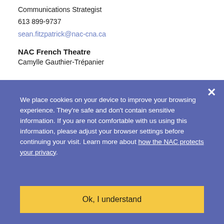Communications Strategist
613 899-9737
sean.fitzpatrick@nac-cna.ca
NAC French Theatre
Camylle Gauthier-Trépanier
We place cookies on your device to improve your browsing experience. They're safe and don't contain sensitive information. If you are not comfortable with us using this information, please adjust your browser settings before continuing your visit. Learn more about how the NAC protects your privacy.
Ok, I understand